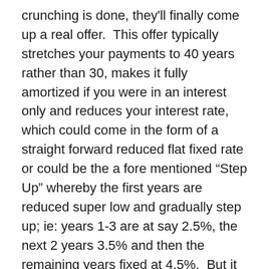crunching is done, they'll finally come up a real offer. This offer typically stretches your payments to 40 years rather than 30, makes it fully amortized if you were in an interest only and reduces your interest rate, which could come in the form of a straight forward reduced flat fixed rate or could be the a fore mentioned “Step Up” whereby the first years are reduced super low and gradually step up; ie: years 1-3 are at say 2.5%, the next 2 years 3.5% and then the remaining years fixed at 4.5%. But it won’t become permanent until you’ve demonstrated you can handle the new payments. This is called the “Trial Loan Modification Period” and is usually for 3 months. This new structure will start at a date, often a month or two out; will include the taxes and insurance based on all the figures you’ve provided in your package and include all back payments and accrued interest. Once you make those 3 “Trial”